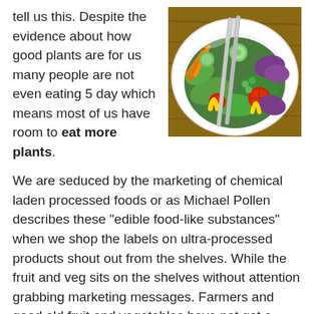tell us this. Despite the evidence about how good plants are for us many people are not even eating 5 day which means most of us have room to eat more plants.
[Figure (photo): A colorful bowl of fresh salad with various vegetables including carrots, tomatoes, cucumbers, purple cabbage, yellow peppers, and green leaves, with a fork resting in the bowl, photographed from above on a wooden surface.]
We are seduced by the marketing of chemical laden processed foods or as Michael Pollen describes these "edible food-like substances" when we shop the labels on ultra-processed products shout out from the shelves. While the fruit and veg sits on the shelves without attention grabbing marketing messages. Farmers and good old fruit and vegetables have not got a marketing department that can complete with multi million pound food producing giants.
A plant based diet can promote a healthy weight and help to prevent disease, yet this reality is slow to translate into what is on our plates at mealtimes. Eating more plants increases the